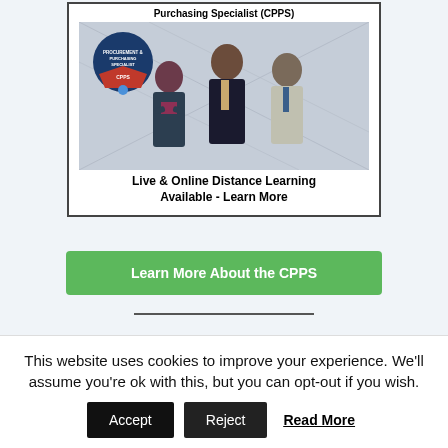[Figure (photo): Advertisement box for Certified Procurement & Purchasing Specialist (CPPS) certification showing three business professionals (two men and one woman) posing together, with a CPPS badge/seal in the top left. Text reads: Live & Online Distance Learning Available - Learn More]
Learn More About the CPPS
This website uses cookies to improve your experience. We'll assume you're ok with this, but you can opt-out if you wish.
Accept  Reject  Read More